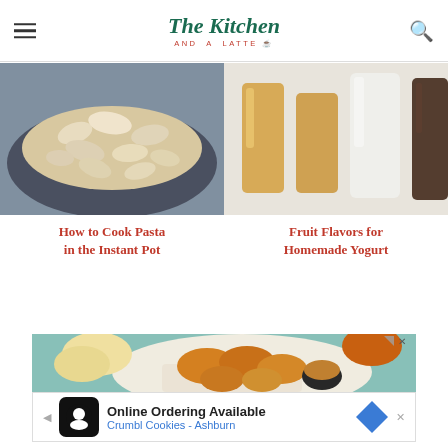The Kitchen AND A LATTE
[Figure (photo): Bowl of bowtie pasta cooked in Instant Pot]
[Figure (photo): Glasses with fruit flavored liquids for homemade yogurt]
How to Cook Pasta in the Instant Pot
Fruit Flavors for Homemade Yogurt
[Figure (photo): Advertisement: fried chicken nuggets on a plate with dipping sauce and rolls]
Online Ordering Available Crumbl Cookies - Ashburn